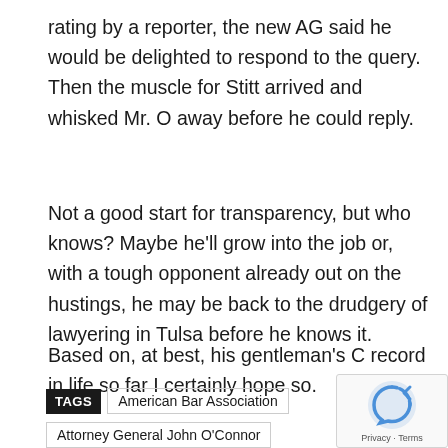rating by a reporter, the new AG said he would be delighted to respond to the query. Then the muscle for Stitt arrived and whisked Mr. O away before he could reply.
Not a good start for transparency, but who knows? Maybe he'll grow into the job or, with a tough opponent already out on the hustings, he may be back to the drudgery of lawyering in Tulsa before he knows it.
Based on, at best, his gentleman's C record in life so far I certainly hope so.
TAGS  American Bar Association  Attorney General John O'Connor  Gentner Drummond  Gov. Kevin Stitt  Oklahoma  Republicans